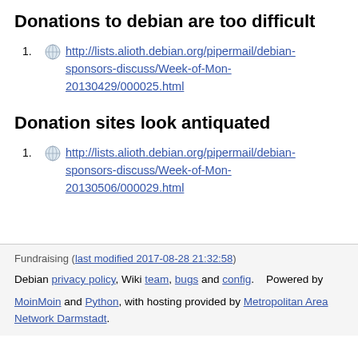Donations to debian are too difficult
http://lists.alioth.debian.org/pipermail/debian-sponsors-discuss/Week-of-Mon-20130429/000025.html
Donation sites look antiquated
http://lists.alioth.debian.org/pipermail/debian-sponsors-discuss/Week-of-Mon-20130506/000029.html
Fundraising (last modified 2017-08-28 21:32:58)
Debian privacy policy, Wiki team, bugs and config.    Powered by MoinMoin and Python, with hosting provided by Metropolitan Area Network Darmstadt.